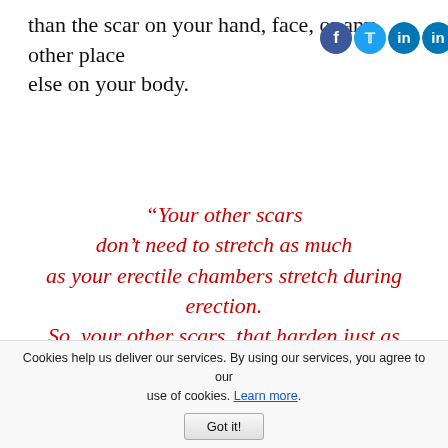than the scar on your hand, face, or any other place else on your body.
[Figure (logo): Social media share icons: Facebook, Twitter, and multiple LinkedIn icons]
“Your other scars don’t need to stretch as much as your erectile chambers stretch during erection. So, your other scars, that harden just as much, cause you no problem at all.”
Cookies help us deliver our services. By using our services, you agree to our use of cookies. Learn more. Got it!